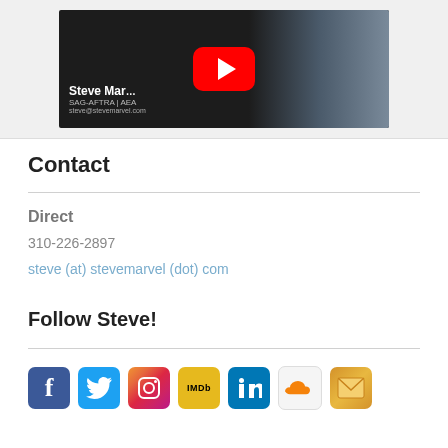[Figure (screenshot): YouTube video thumbnail showing Steve Marvel, actor, with SAG-AFTRA | AEA credentials and email steve@stevemarvel.com. YouTube play button overlay visible. Man's face visible on the right side.]
Contact
Direct
310-226-2897
steve (at) stevemarvel (dot) com
Follow Steve!
[Figure (infographic): Row of social media icons: Facebook, Twitter, Instagram, IMDb, LinkedIn, SoundCloud, Email/envelope]